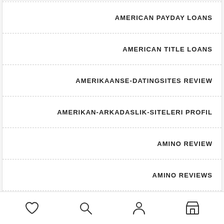AMERICAN PAYDAY LOANS
AMERICAN TITLE LOANS
AMERIKAANSE-DATINGSITES REVIEW
AMERIKAN-ARKADASLIK-SITELERI PROFIL
AMINO REVIEW
AMINO REVIEWS
AMINO STATUT EN LIGNE
navigation bar with icons: heart, search, person, shop